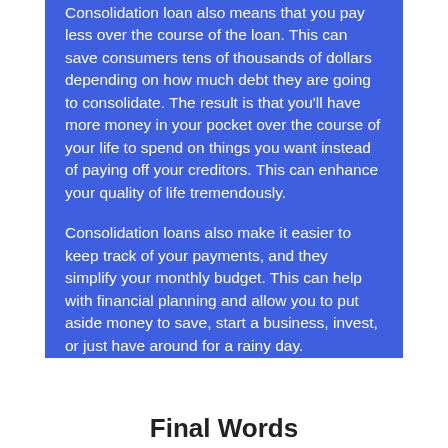Consolidation loan also means that you pay less over the course of the loan. This can save consumers tens of thousands of dollars depending on how much debt they are going to consolidate. The result is that you'll have more money in your pocket over the course of your life to spend on things you want instead of paying off your creditors. This can enhance your quality of life tremendously.
Consolidation loans also make it easier to keep track of your payments, and they simplify your monthly budget. This can help with financial planning and allow you to put aside money to save, start a business, invest, or just have around for a rainy day.
Final Words